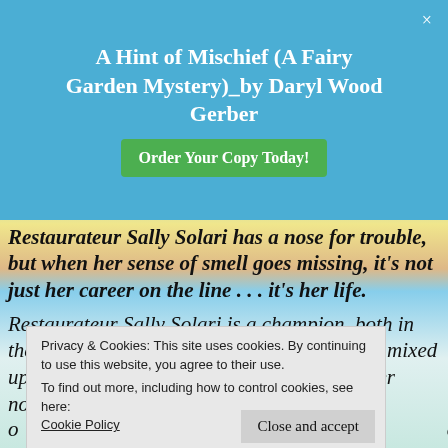A Hint of Mischief (A Fairy Garden Mystery)_by Daryl Wood Gerber
Restaurateur Sally Solari has a nose for trouble, but when her sense of smell goes missing, it's not just her career on the line . . . it's her life.
Restaurateur Sally Solari is a champion, both in the kitchen and on the case, but after getting mixed up in one too many murders, she's noticed her nonna's friends have now taken to...
Privacy & Cookies: This site uses cookies. By continuing to use this website, you agree to their use. To find out more, including how to control cookies, see here: Cookie Policy
Sally is determined to stay out of trouble and